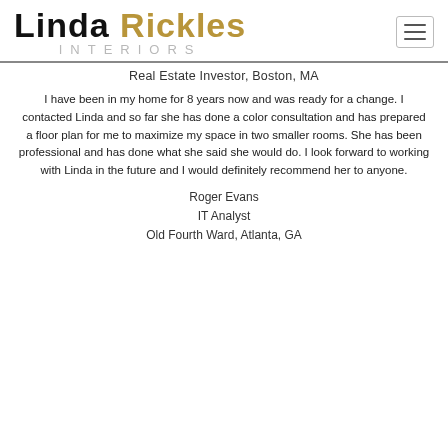Linda Rickles Interiors
Real Estate Investor, Boston, MA
I have been in my home for 8 years now and was ready for a change. I contacted Linda and so far she has done a color consultation and has prepared a floor plan for me to maximize my space in two smaller rooms. She has been professional and has done what she said she would do. I look forward to working with Linda in the future and I would definitely recommend her to anyone.
Roger Evans
IT Analyst
Old Fourth Ward, Atlanta, GA